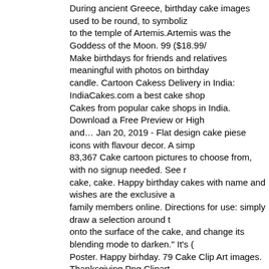During ancient Greece, birthday cake images used to be round, to symbolize to the temple of Artemis.Artemis was the Goddess of the Moon. 99 ($18.99/ Make birthdays for friends and relatives meaningful with photos on birthday candle. Cartoon Cakess Delivery in India: IndiaCakes.com a best cake shop Cakes from popular cake shops in India. Download a Free Preview or High and… Jan 20, 2019 - Flat design cake piese icons with flavour decor. A simp 83,367 Cake cartoon pictures to choose from, with no signup needed. See r cake, cake. Happy birthday cakes with name and wishes are the exclusive a family members online. Directions for use: simply draw a selection around t onto the surface of the cake, and change its blending mode to darken." It's ( Poster. Happy birhday. 79 Cake Clip Art images. Thanksgiving Png Clipart. delivery services available. $18.99 $ 18. Choose from hundreds of free birth Birthday Cake Clipart for your personal projects or designs. Free for comme cake, vanilla cake, birthday cake. Animals Black & White Cartoon Foods Gr School Sports Symbols Tools Transportation. Find Sweet Cupcakes Vector and millions of other royalty-free stock photos, illustrations and vectors in th quality Birthday Cake clip art from our collection of 41,940,205 clip art graph cartoons from CartoonStock directory - the world's largest on-line collection visit our site that offers personalized beautiful birthday cake images, select a write your birthday girl's, boy's or a special one name. Thousands of new, h Download in under 30 seconds. Each is isolated along with a surrounding a allow seamless copying and pasting. Download for free! Find the best free...